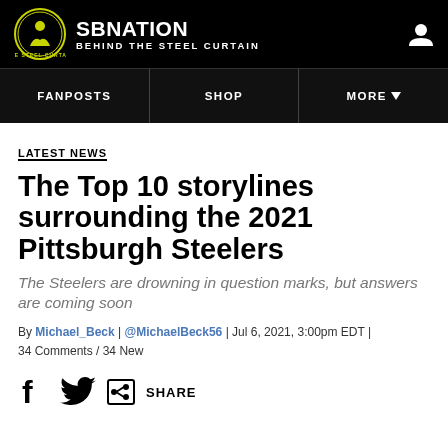SB NATION | BEHIND THE STEEL CURTAIN
FANPOSTS | SHOP | MORE
LATEST NEWS
The Top 10 storylines surrounding the 2021 Pittsburgh Steelers
The Steelers are drowning in question marks, but answers are coming soon
By Michael_Beck | @MichaelBeck56 | Jul 6, 2021, 3:00pm EDT | 34 Comments / 34 New